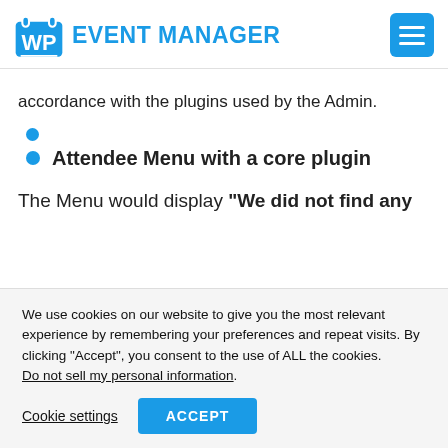WP EVENT MANAGER
accordance with the plugins used by the Admin.
Attendee Menu with a core plugin
The Menu would display “We did not find any
We use cookies on our website to give you the most relevant experience by remembering your preferences and repeat visits. By clicking “Accept”, you consent to the use of ALL the cookies. Do not sell my personal information.
Cookie settings  ACCEPT